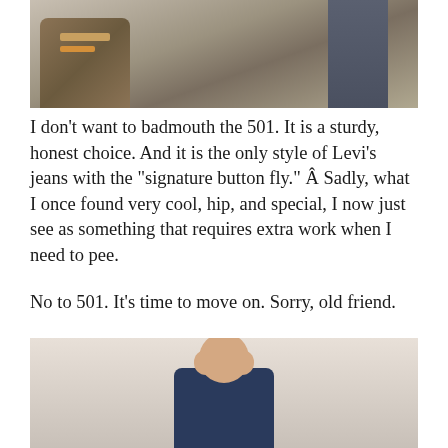[Figure (photo): Top portion of a photo showing a bag/backpack on the left and dark jeans on the right, against a beige/tan background.]
I don't want to badmouth the 501. It is a sturdy, honest choice. And it is the only style of Levi’s jeans with the “signature button fly.” Â Sadly, what I once found very cool, hip, and special, I now just see as something that requires extra work when I need to pee.
No to 501. It’s time to move on. Sorry, old friend.
The 505 “Regular Fit” fit pretty good, and didn’t feel much different than the 501s. Â Like twin brothers. Â The boring twin brother who became the accountant.
[Figure (photo): Bottom portion of a photo showing a person in a dark navy blue t-shirt with hands raised near their face, against a light beige/white background.]